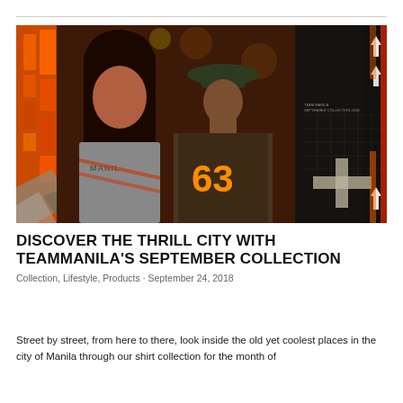[Figure (photo): Two people wearing TeamManila branded streetwear shirts in a busy city night scene. The woman faces forward wearing a grey Manila shirt, the man has his back turned showing a jersey with '63' in orange. Background features orange neon lights, dark graphic overlays with arrows and grid patterns on the right side.]
DISCOVER THE THRILL CITY WITH TEAMMANILA'S SEPTEMBER COLLECTION
Collection, Lifestyle, Products · September 24, 2018
Street by street, from here to there, look inside the old yet coolest places in the city of Manila through our shirt collection for the month of